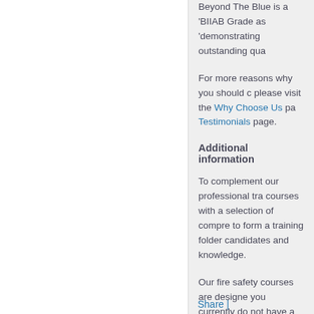Beyond The Blue is a 'BIIAB Grade as 'demonstrating outstanding qua
For more reasons why you should choose us, please visit the Why Choose Us page and our Testimonials page.
Additional information
To complement our professional tra courses with a selection of compre to form a training folder candidates and knowledge.
Our fire safety courses are designed. If you currently do not have a Fire Ris one for you as part of a Fire Risk A
A Fire Risk Assessment is required by the Regulatory Reform (Fire Safety) O
Share |